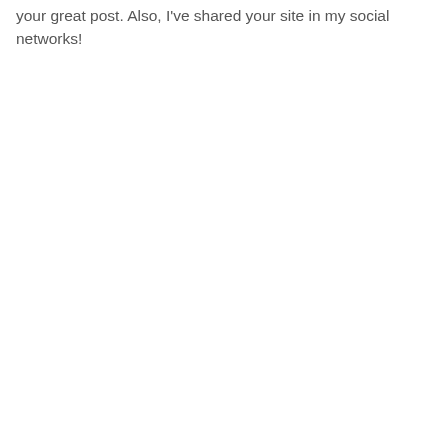your great post. Also, I've shared your site in my social networks!